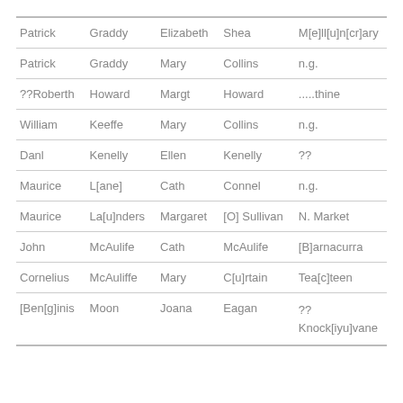| Patrick | Graddy | Elizabeth | Shea | M[e]ll[u]n[cr]ary |
| Patrick | Graddy | Mary | Collins | n.g. |
| ??Roberth | Howard | Margt | Howard | .....thine |
| William | Keeffe | Mary | Collins | n.g. |
| Danl | Kenelly | Ellen | Kenelly | ?? |
| Maurice | L[ane] | Cath | Connel | n.g. |
| Maurice | La[u]nders | Margaret | [O] Sullivan | N. Market |
| John | McAulife | Cath | McAulife | [B]arnacurra |
| Cornelius | McAuliffe | Mary | C[u]rtain | Tea[c]teen |
| [Ben[g]inis | Moon | Joana | Eagan | ??
Knock[iyu]vane |